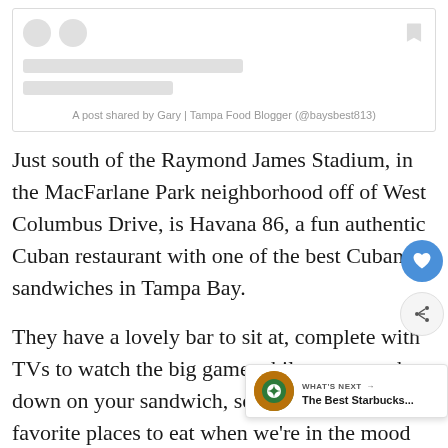[Figure (screenshot): Instagram embed placeholder with two gray profile icon circles on the left, a bookmark icon on the upper right, two gray loading bar placeholders, and a caption reading 'A post shared by Gary | Tampa Food Blogger (@baysbest813)']
A post shared by Gary | Tampa Food Blogger (@baysbest813)
Just south of the Raymond James Stadium, in the MacFarlane Park neighborhood off of West Columbus Drive, is Havana 86, a fun authentic Cuban restaurant with one of the best Cuban sandwiches in Tampa Bay.
They have a lovely bar to sit at, complete with TVs to watch the big game while you munch down on your sandwich, so it's one of our favorite places to eat when we're in the mood for a Cuban and some spo... beer.